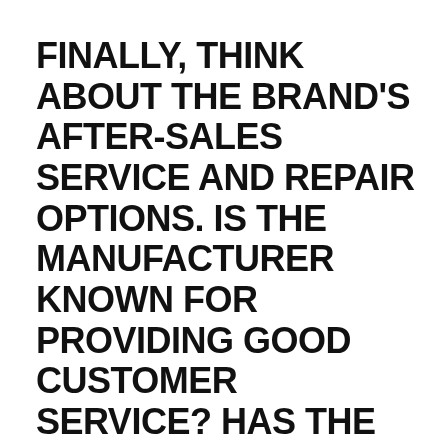FINALLY, THINK ABOUT THE BRAND'S AFTER-SALES SERVICE AND REPAIR OPTIONS. IS THE MANUFACTURER KNOWN FOR PROVIDING GOOD CUSTOMER SERVICE? HAS THE BRAND BEEN CONSISTENTLY RATED WELL BY CUSTOMERS? THINKING ABOUT THESE FACTORS WILL GIVE YOU A BETTER IDEA OF WHAT THE CUSTOMER'S EXPERIENCE IS LIKE AND HOW THE BRAND